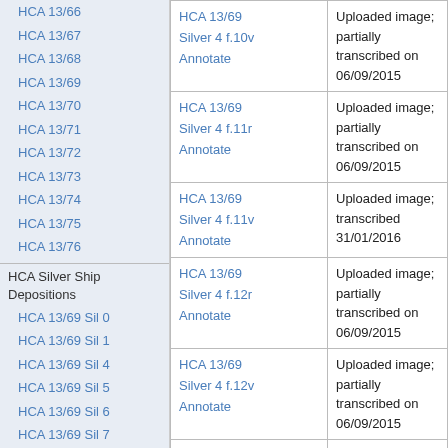HCA 13/66
HCA 13/67
HCA 13/68
HCA 13/69
HCA 13/70
HCA 13/71
HCA 13/72
HCA 13/73
HCA 13/74
HCA 13/75
HCA 13/76
HCA Silver Ship Depositions
HCA 13/69 Sil 0
HCA 13/69 Sil 1
HCA 13/69 Sil 4
HCA 13/69 Sil 5
HCA 13/69 Sil 6
HCA 13/69 Sil 7
HCA 13/69 Sil 8
HCA 13/69 Sil 9
HCA 13/69 Sil 10
HCA 13/69 Sil 11
| Link | Status |
| --- | --- |
| HCA 13/69 Silver 4 f.10v Annotate | Uploaded image; partially transcribed on 06/09/2015 |
| HCA 13/69 Silver 4 f.11r Annotate | Uploaded image; partially transcribed on 06/09/2015 |
| HCA 13/69 Silver 4 f.11v Annotate | Uploaded image; transcribed 31/01/2016 |
| HCA 13/69 Silver 4 f.12r Annotate | Uploaded image; partially transcribed on 06/09/2015 |
| HCA 13/69 Silver 4 f.12v Annotate | Uploaded image; partially transcribed on 06/09/2015 |
| HCA 13/69 Silver 4 f.13r Annotate | Uploaded image; partially transcribed on 06/09/2015 |
| HCA 13/69 Silver 4 f.13v Annotate | Uploaded image; Transcribed 31/01/2016 |